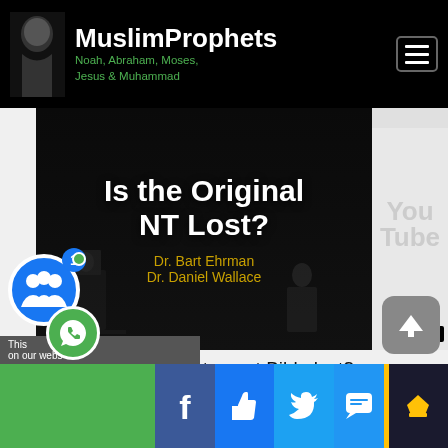MuslimProphets Noah, Abraham, Moses, Jesus & Muhammad
[Figure (screenshot): Video thumbnail: Is the Original NT Lost? Dr. Bart Ehrman, Dr. Daniel Wallace debate]
Is the original New Testament Bible lost? - Bart Ehrman vs Daniel Wallace
2672 views · 17 hrs ago | 6 years ago
12 of 211
[Figure (screenshot): Second video thumbnail: Bart D Ehrman debates Richard J Bauckham - ROUND 1: Are Gospels Based on Eyewitness Testimony?]
This on our webs